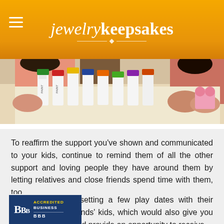jewelrykeepsakes
[Figure (photo): Children at a table with colorful paint bottles and craft supplies; kids' hands visible holding items.]
To reaffirm the support you've shown and communicated to your kids, continue to remind them of all the other support and loving people they have around them by letting relatives and close friends spend time with them, too.
This might mean setting a few play dates with their cousins or your friends' kids, which would also give you a little break. It would provide an opportunity to receive